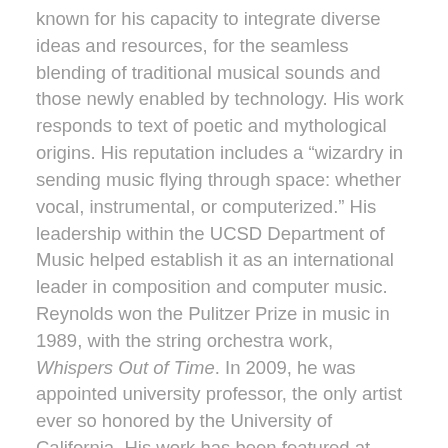known for his capacity to integrate diverse ideas and resources, for the seamless blending of traditional musical sounds and those newly enabled by technology. His work responds to text of poetic and mythological origins. His reputation includes a “wizardry in sending music flying through space: whether vocal, instrumental, or computerized.” His leadership within the UCSD Department of Music helped establish it as an international leader in composition and computer music. Reynolds won the Pulitzer Prize in music in 1989, with the string orchestra work, Whispers Out of Time. In 2009, he was appointed university professor, the only artist ever so honored by the University of California. His work has been featured at festivals including Warsaw Autumn, the Proms and Edinburgh Festivals (UK), the Suntory International Series and Music Today (Tokyo), and the Helsinki and Venice Biennales, and the New York Philharmonic’s “Horizons ’84.” In 1998, the Library of Congress established a Special Collection of his work, and it is also included in the Paul